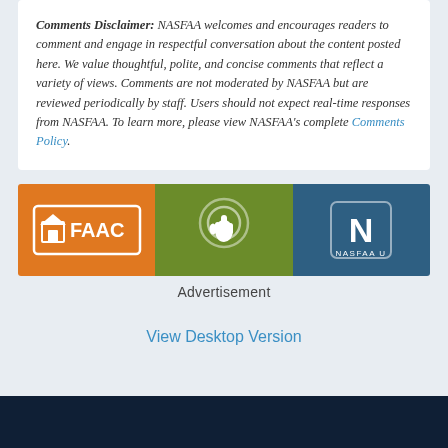Comments Disclaimer: NASFAA welcomes and encourages readers to comment and engage in respectful conversation about the content posted here. We value thoughtful, polite, and concise comments that reflect a variety of views. Comments are not moderated by NASFAA but are reviewed periodically by staff. Users should not expect real-time responses from NASFAA. To learn more, please view NASFAA's complete Comments Policy.
[Figure (infographic): Advertisement banner with three colored panels: orange panel with FAAC logo, green panel with hand/touch icon, dark blue panel with NASFAA U logo]
Advertisement
View Desktop Version